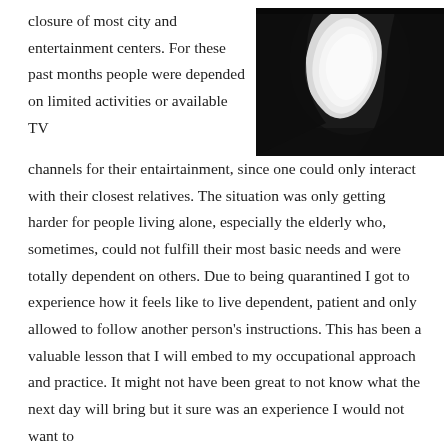closure of most city and entertainment centers. For these past months people were depended on limited activities or available TV
[Figure (photo): Black and white close-up photograph of what appears to be a flower or organic curved form against a dark background.]
channels for their entairtainment, since one could only interact with their closest relatives. The situation was only getting harder for people living alone, especially the elderly who, sometimes, could not fulfill their most basic needs and were totally dependent on others. Due to being quarantined I got to experience how it feels like to live dependent, patient and only allowed to follow another person's instructions. This has been a valuable lesson that I will embed to my occupational approach and practice. It might not have been great to not know what the next day will bring but it sure was an experience I would not want to forget.